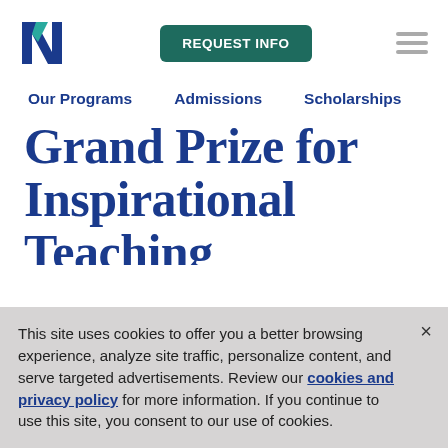[Figure (logo): University logo with stylized N in dark blue and teal]
REQUEST INFO
Our Programs  Admissions  Scholarships
Grand Prize for Inspirational Teaching
This site uses cookies to offer you a better browsing experience, analyze site traffic, personalize content, and serve targeted advertisements. Review our cookies and privacy policy for more information. If you continue to use this site, you consent to our use of cookies.